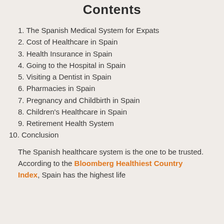Contents
1. The Spanish Medical System for Expats
2. Cost of Healthcare in Spain
3. Health Insurance in Spain
4. Going to the Hospital in Spain
5. Visiting a Dentist in Spain
6. Pharmacies in Spain
7. Pregnancy and Childbirth in Spain
8. Children's Healthcare in Spain
9. Retirement Health System
10. Conclusion
The Spanish healthcare system is the one to be trusted. According to the Bloomberg Healthiest Country Index, Spain has the highest life…